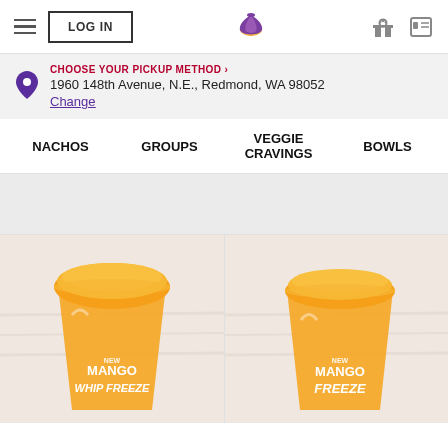LOG IN | Taco Bell | [hamburger menu] [gift icon] [card icon]
CHOOSE YOUR PICKUP METHOD >
1960 148th Avenue, N.E., Redmond, WA 98052
Change
NACHOS
GROUPS
VEGGIE CRAVINGS
BOWLS
[Figure (photo): Orange mango whip freeze drink in a clear plastic cup with text 'NEW MANGO WHIP FREEZE']
[Figure (photo): Orange mango freeze drink in a clear plastic cup with text 'NEW MANGO FREEZE']